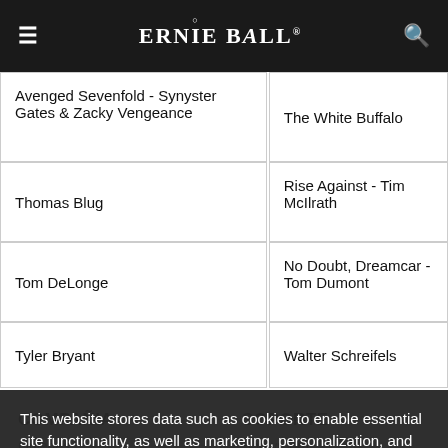☰ ERNIE BALL® 🔍
Avenged Sevenfold - Synyster Gates & Zacky Vengeance
The White Buffalo
Thomas Blug
Rise Against - Tim McIlrath
Tom DeLonge
No Doubt, Dreamcar - Tom Dumont
Tyler Bryant
Walter Schreifels
This website stores data such as cookies to enable essential site functionality, as well as marketing, personalization, and analytics. Privacy Policy
Accept
Deny
COMPAÑIA
SOPORTE
Quienes
Catalog
Showroom